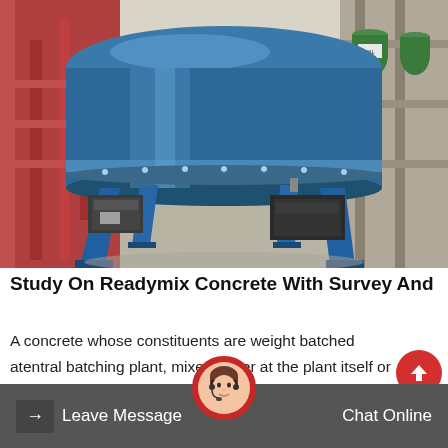[Figure (photo): A large blue industrial concrete mixer (pan mixer) with four blue metal legs and motor housing, standing on a concrete floor inside an industrial facility. Red metal structures visible in background left, green drums/barrels visible in background right.]
Study On Readymix Concrete With Survey And
A concrete whose constituents are weight batched atentral batching plant, mixed either at the plant itself or in truck mixers, and then transported to the construction delivered inondition ready
Leave Message   Chat Online